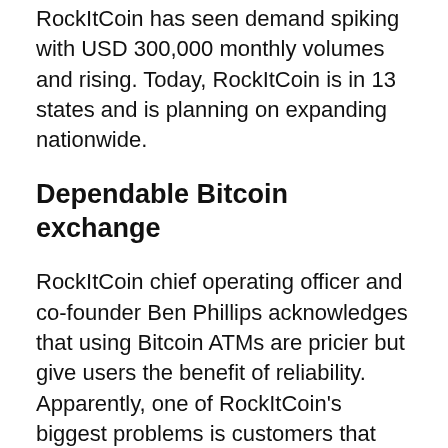RockItCoin has seen demand spiking with USD 300,000 monthly volumes and rising. Today, RockItCoin is in 13 states and is planning on expanding nationwide.
Dependable Bitcoin exchange
RockItCoin chief operating officer and co-founder Ben Phillips acknowledges that using Bitcoin ATMs are pricier but give users the benefit of reliability. Apparently, one of RockItCoin's biggest problems is customers that send Bitcoin from exchanges to the ATM report long delays and get frustrated, because exchanges can take hours to broadcast a transaction to the blockchain. This is unlike RockItCoin Bitcoin ATMs, which